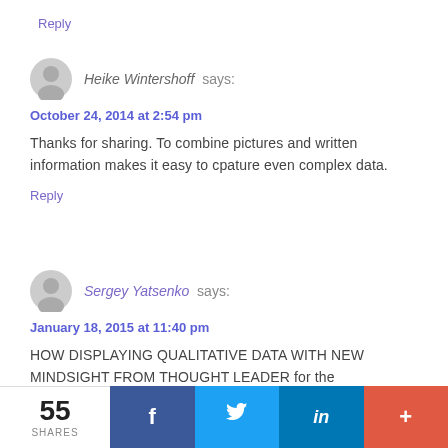Reply
Heike Wintershoff says:
October 24, 2014 at 2:54 pm
Thanks for sharing. To combine pictures and written information makes it easy to cpature even complex data.
Reply
Sergey Yatsenko says:
January 18, 2015 at 11:40 pm
HOW DISPLAYING QUALITATIVE DATA WITH NEW MINDSIGHT FROM THOUGHT LEADER for the understanding.
55 SHARES